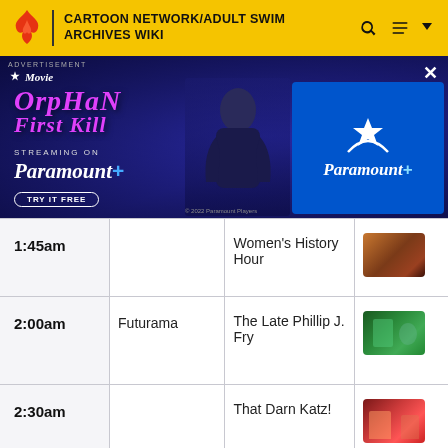CARTOON NETWORK/ADULT SWIM ARCHIVES WIKI
[Figure (photo): Advertisement banner for Orphan: First Kill streaming on Paramount+. Shows movie title in pink text, a person figure, and Paramount+ logo on blue background.]
| Time | Show | Episode | Thumbnail |
| --- | --- | --- | --- |
| 1:45am |  | Women's History Hour | [image] |
| 2:00am | Futurama | The Late Phillip J. Fry | [image] |
| 2:30am |  | That Darn Katz! | [image] |
|  |  |  | [image] |